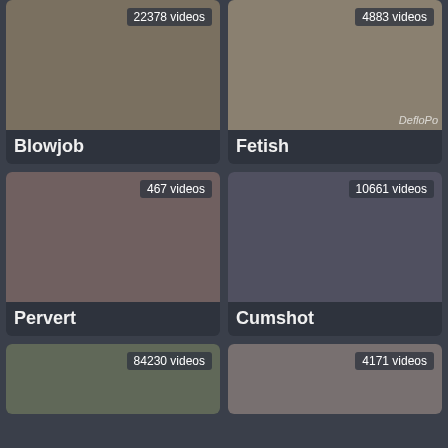[Figure (screenshot): Thumbnail for Blowjob category, 22378 videos]
Blowjob
[Figure (screenshot): Thumbnail for Fetish category, 4883 videos, DefloPo watermark]
Fetish
[Figure (screenshot): Thumbnail for Pervert category, 467 videos]
Pervert
[Figure (screenshot): Thumbnail for Cumshot category, 10661 videos]
Cumshot
[Figure (screenshot): Thumbnail for fifth category, 84230 videos]
[Figure (screenshot): Thumbnail for sixth category, 4171 videos]